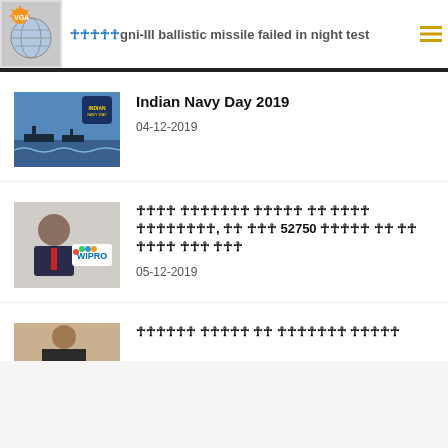[Hindi] Agni-III ballistic missile failed in night test
[Figure (photo): Indian Navy Day 2019 thumbnail - ships at sea with Indian Navy Day logo]
Indian Navy Day 2019
04-12-2019
[Figure (photo): Wipro chairman photo - elderly man in suit with Wipro logo]
[Hindi] विप्रो चेयरमैन अजीम प्रेमजी ने अपनी संपत्ति के रूप में 52750 करोड़ रुपये की दान देने की घोषणा की
05-12-2019
[Figure (photo): Partial thumbnail - third news item]